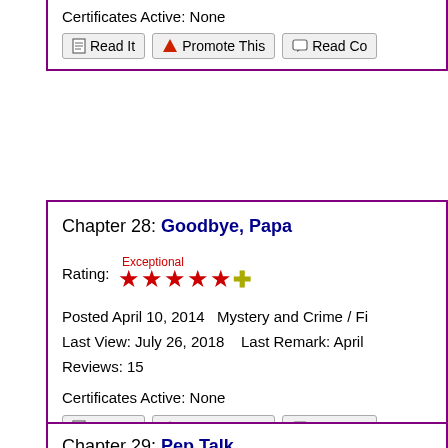Certificates Active: None
[Figure (screenshot): Row of action buttons: Read It, Promote This, Read Co...]
Chapter 28: Goodbye, Papa
Rating: Exceptional ★★★★★+
Posted April 10, 2014   Mystery and Crime / Fi...
Last View: July 26, 2018    Last Remark: April...
Reviews: 15
Certificates Active: None
[Figure (screenshot): Row of action buttons: Read It, Promote This, Read Co...]
Chapter 29: Pep Talk